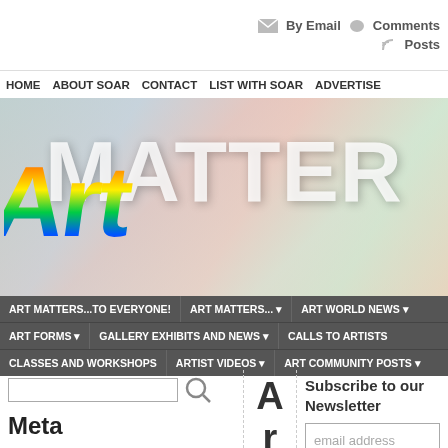By Email  Comments  Posts
HOME  ABOUT SOAR  CONTACT  LIST WITH SOAR  ADVERTISE
[Figure (illustration): Art Matters website banner with colorful artistic background and large white bold text reading ART MATTERS with rainbow-colored artistic lettering]
ART MATTERS...TO EVERYONE!  ART MATTERS...  ART WORLD NEWS  ART FORMS  GALLERY EXHIBITS AND NEWS  CALLS TO ARTISTS  CLASSES AND WORKSHOPS  ARTIST VIDEOS  ART COMMUNITY POSTS
Meta
Register
Log in
Entries feed
Comments feed
A r t d
Subscribe to our Newsletter
email address
Subscribe